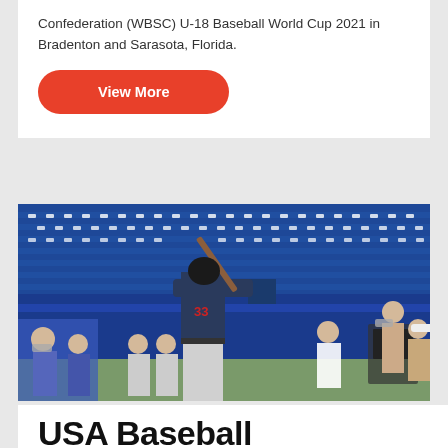Confederation (WBSC) U-18 Baseball World Cup 2021 in Bradenton and Sarasota, Florida.
View More
[Figure (photo): Baseball player wearing dark navy uniform with number 33 in a batting stance at a stadium, with blue stadium seats visible in the background and spectators/camera crew in the dugout area.]
USA Baseball